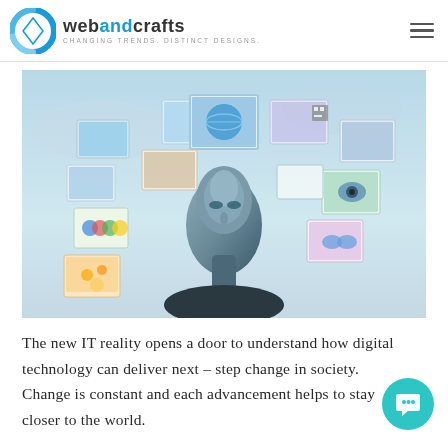webandcrafts — CHANGING TRENDS. DISTINCT DESIGNS.
[Figure (photo): A person looking upward with multiple digital images and screens floating around their head, representing digital technology and IT reality, against a light blue sky background.]
The new IT reality opens a door to understand how digital technology can deliver next – step change in society. Change is constant and each advancement helps to stay closer to the world.